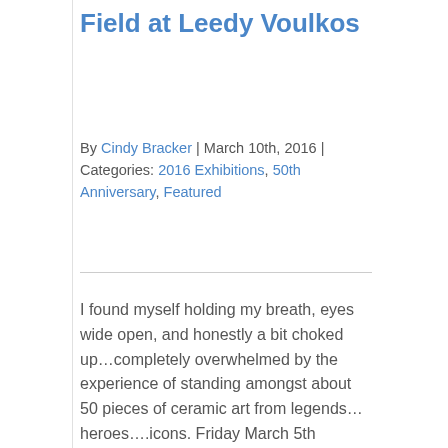Field at Leedy Voulkos
By Cindy Bracker | March 10th, 2016 | Categories: 2016 Exhibitions, 50th Anniversary, Featured
I found myself holding my breath, eyes wide open, and honestly a bit choked up…completely overwhelmed by the experience of standing amongst about 50 pieces of ceramic art from legends…heroes….icons. Friday March 5th marked the opening